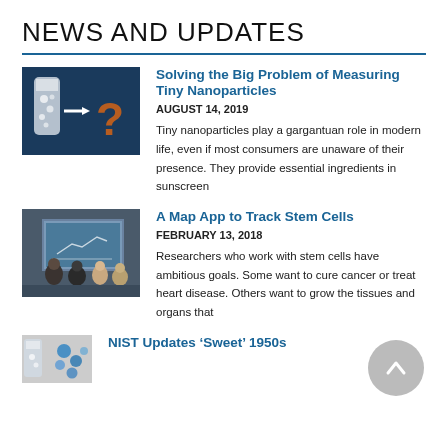NEWS AND UPDATES
Solving the Big Problem of Measuring Tiny Nanoparticles
AUGUST 14, 2019
Tiny nanoparticles play a gargantuan role in modern life, even if most consumers are unaware of their presence. They provide essential ingredients in sunscreen
A Map App to Track Stem Cells
FEBRUARY 13, 2018
Researchers who work with stem cells have ambitious goals. Some want to cure cancer or treat heart disease. Others want to grow the tissues and organs that
NIST Updates ‘Sweet’ 1950s